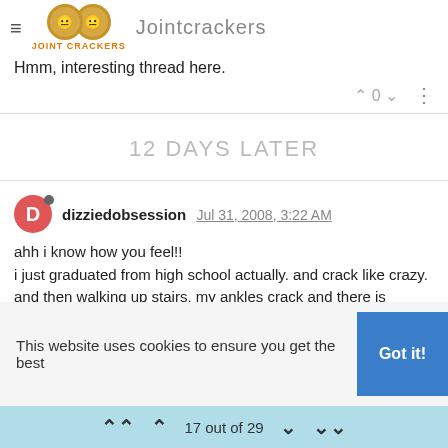JointCrackers
Hmm, interesting thread here.
12 DAYS LATER
dizziedobsession Jul 31, 2008, 3:22 AM
ahh i know how you feel!!
i just graduated from high school actually. and crack like crazy. and then walking up stairs, my ankles crack and there is nothing i can do to stop it.

it just feels like i have to and if i dont it starts to bug me.
so i dont think i can possibly ever stop 😞
This website uses cookies to ensure you get the best
17 out of 29